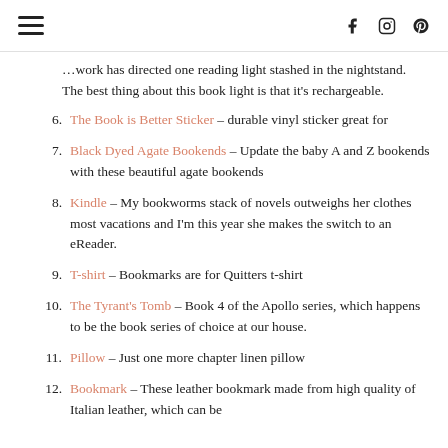Hamburger menu | Social icons: f, instagram, pinterest
…work has directed one reading light stashed in the nightstand. The best thing about this book light is that it's rechargeable.
6. The Book is Better Sticker – durable vinyl sticker great for
7. Black Dyed Agate Bookends – Update the baby A and Z bookends with these beautiful agate bookends
8. Kindle – My bookworms stack of novels outweighs her clothes most vacations and I'm this year she makes the switch to an eReader.
9. T-shirt – Bookmarks are for Quitters t-shirt
10. The Tyrant's Tomb – Book 4 of the Apollo series, which happens to be the book series of choice at our house.
11. Pillow – Just one more chapter linen pillow
12. Bookmark – These leather bookmark made from high quality of Italian leather, which can be